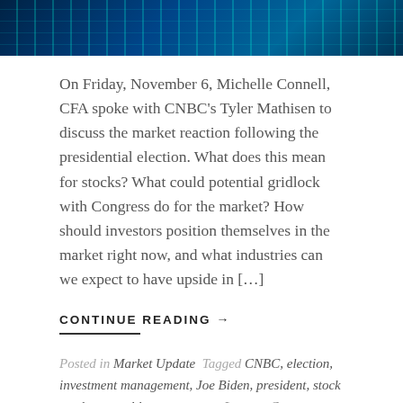[Figure (photo): Hero image showing financial data on a screen with blue and teal tones, appears to be a stock market chart display]
On Friday, November 6, Michelle Connell, CFA spoke with CNBC’s Tyler Mathisen to discuss the market reaction following the presidential election. What does this mean for stocks? What could potential gridlock with Congress do for the market? How should investors position themselves in the market right now, and what industries can we expect to have upside in […]
CONTINUE READING →
Posted in Market Update  Tagged CNBC, election, investment management, Joe Biden, president, stock markets, wealth management  Leave a Comment